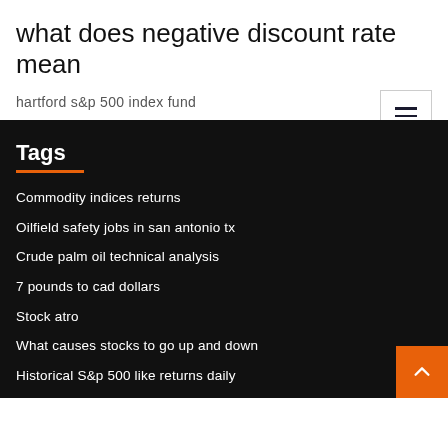what does negative discount rate mean
hartford s&p 500 index fund
Tags
Commodity indices returns
Oilfield safety jobs in san antonio tx
Crude palm oil technical analysis
7 pounds to cad dollars
Stock atro
What causes stocks to go up and down
Historical S&p 500 like returns daily